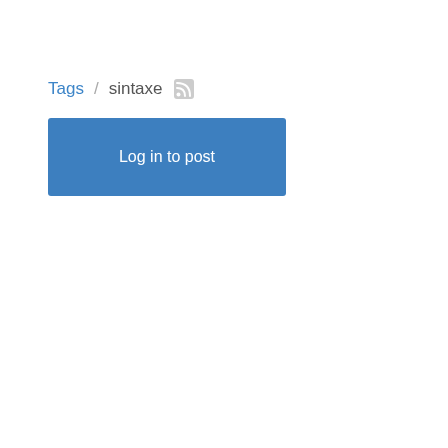Tags / sintaxe [rss icon]
Log in to post